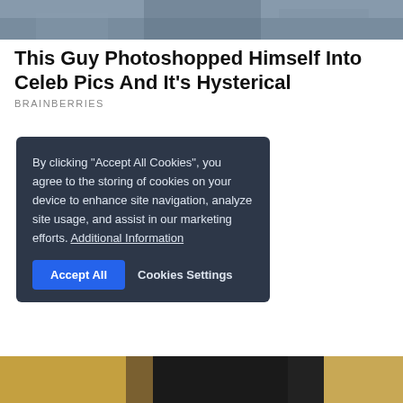[Figure (photo): Partial top image, cropped people sitting]
This Guy Photoshopped Himself Into Celeb Pics And It's Hysterical
BRAINBERRIES
By clicking "Accept All Cookies", you agree to the storing of cookies on your device to enhance site navigation, analyze site usage, and assist in our marketing efforts. Additional Information
From Monsters And Slashers To Haunted Hotels: Best Horror Films
BRAINBERRIES
[Figure (photo): Partial bottom image, person with dark hair on golden/yellow background]